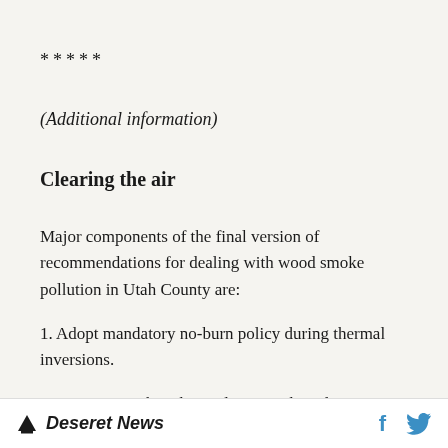*****
(Additional information)
Clearing the air
Major components of the final version of recommendations for dealing with wood smoke pollution in Utah County are:
1. Adopt mandatory no-burn policy during thermal inversions.
Exemptions: When the appliance is the sole
Deseret News  [social icons: Facebook, Twitter]